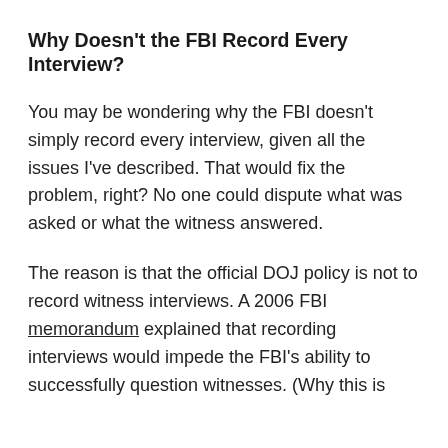Why Doesn’t the FBI Record Every Interview?
You may be wondering why the FBI doesn’t simply record every interview, given all the issues I’ve described. That would fix the problem, right? No one could dispute what was asked or what the witness answered.
The reason is that the official DOJ policy is not to record witness interviews. A 2006 FBI memorandum explained that recording interviews would impede the FBI’s ability to successfully question witnesses. (Why this is